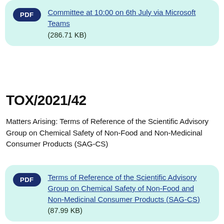[Figure (other): PDF card with link: Committee at 10:00 on 6th July via Microsoft Teams (286.71 KB)]
TOX/2021/42
Matters Arising: Terms of Reference of the Scientific Advisory Group on Chemical Safety of Non-Food and Non-Medicinal Consumer Products (SAG-CS)
[Figure (other): PDF card with link: Terms of Reference of the Scientific Advisory Group on Chemical Safety of Non-Food and Non-Medicinal Consumer Products (SAG-CS) (87.99 KB)]
TOX/2021/38
Sub-statement on the potential risks from exposure